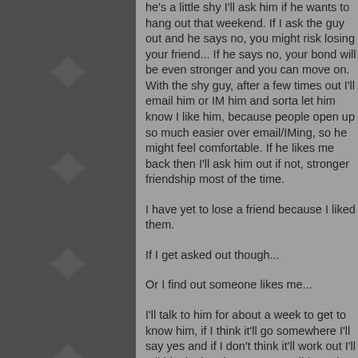he's a little shy I'll ask him if he wants to hang out that weekend. If I ask the guy out and he says no, you might risk losing your friend... If he says no, your bond will be even stronger and you can move on. With the shy guy, after a few times out I'll email him or IM him and sorta let him know I like him, because people open up so much easier over email/IMing, so he might feel comfortable. If he likes me back then I'll ask him out if not, stronger friendship most of the time.
I have yet to lose a friend because I liked them.
If I get asked out though...
Or I find out someone likes me...
I'll talk to him for about a week to get to know him, if I think it'll go somewhere I'll say yes and if I don't think it'll work out I'll tell him in the nicest way possible and explain why and that...
I've only lost one would-be friend to that.
LOL
[GUYS]